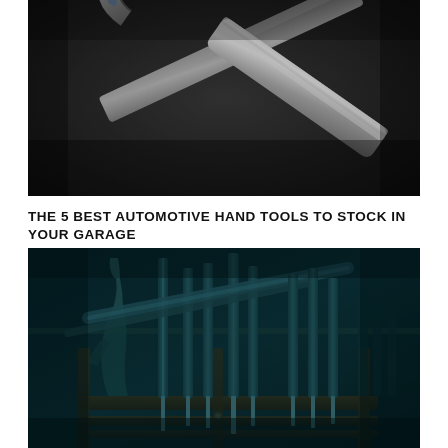[Figure (photo): Close-up macro photograph of two metal wrenches/spanners lying on a dark surface, showing the open end of one wrench in sharp focus with metallic silver/chrome finish against a dark background.]
THE 5 BEST AUTOMOTIVE HAND TOOLS TO STOCK IN YOUR GARAGE
[Figure (photo): Dark teal-toned photograph of a garage or workshop tool rack with various hand tools including screwdrivers, pliers, and other automotive tools arranged on a wooden holder/rack against a dark background.]